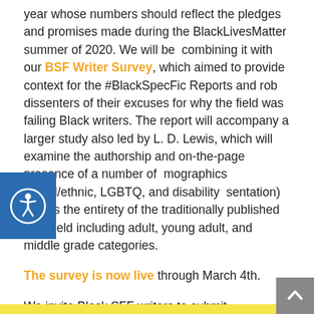year whose numbers should reflect the pledges and promises made during the BlackLivesMatter summer of 2020. We will be combining it with our BSF Writer Survey, which aimed to provide context for the #BlackSpecFic Reports and rob dissenters of their excuses for why the field was failing Black writers. The report will accompany a larger study also led by L. D. Lewis, which will examine the authorship and on-the-page presence of a number of demographics (racial/ethnic, LGBTQ, and disability representation) across the entirety of the traditionally published SFF field including adult, young adult, and middle grade categories.

The survey is now live through March 4th.

We invite Black SFF writers to submit information about their practices and insights on submission to SFF short fiction markets with a focus on the 2021